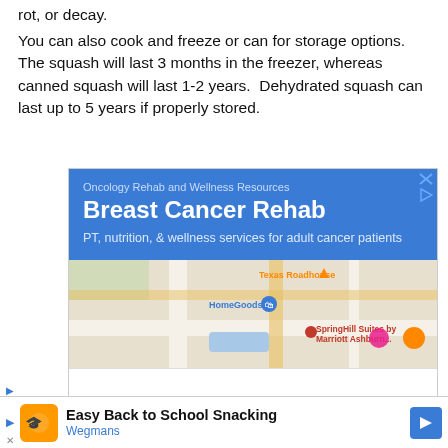rot, or decay.
You can also cook and freeze or can for storage options.  The squash will last 3 months in the freezer, whereas canned squash will last 1-2 years.  Dehydrated squash can last up to 5 years if properly stored.
[Figure (screenshot): Advertisement: Google local ad for 'Oncology Rehab and Wellness Resources - Breast Cancer Rehab' with blue header, map snippet showing Texas Roadhouse, HomeGoods, SpringHill Suites by Marriott Ashburn area, and a bottom bar with buttons.]
[Figure (screenshot): Advertisement banner: 'Easy Back to School Snacking' by Wegmans, with orange logo icon and blue arrow button.]